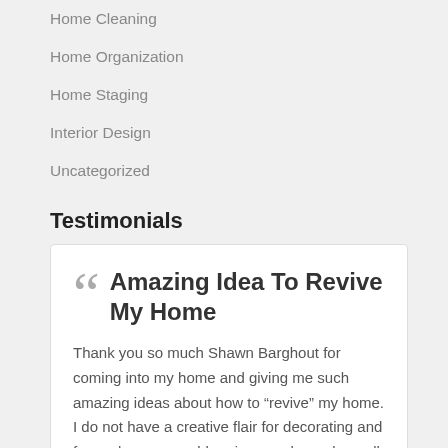Home Cleaning
Home Organization
Home Staging
Interior Design
Uncategorized
Testimonials
Amazing Idea To Revive My Home
Thank you so much Shawn Barghout for coming into my home and giving me such amazing ideas about how to “revive” my home. I do not have a creative flair for decorating and for such a reasonable price, you have done all of that for me. I can’t wait to get started and I appreciate all your time and ideas. Thank you